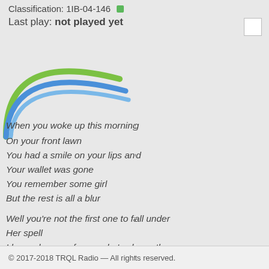Classification: 1IB-04-146 ■
Last play: not played yet
[Figure (illustration): Decorative arc/logo with green and blue curved lines forming a partial circle]
When you woke up this morning
On your front lawn
You had a smile on your lips and
Your wallet was gone
You remember some girl
But the rest is all a blur
Well you're not the first one to fall under
Her spell
I know dozens of guys who've been there
As well
They've got scars to show
And they owe 'em all to her
© 2017-2018 TRQL Radio — All rights reserved.